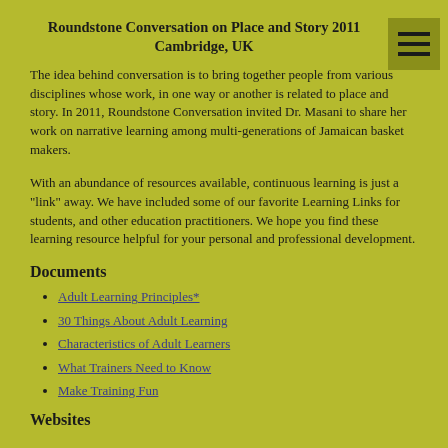Roundstone Conversation on Place and Story 2011 Cambridge, UK
The idea behind conversation is to bring together people from various disciplines whose work, in one way or another is related to place and story. In 2011, Roundstone Conversation invited Dr. Masani to share her work on narrative learning among multi-generations of Jamaican basket makers.
With an abundance of resources available, continuous learning is just a "link" away. We have included some of our favorite Learning Links for students, and other education practitioners. We hope you find these learning resource helpful for your personal and professional development.
Documents
Adult Learning Principles*
30 Things About Adult Learning
Characteristics of Adult Learners
What Trainers Need to Know
Make Training Fun
Websites